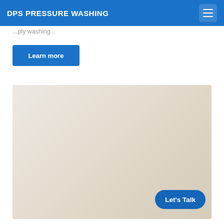DPS PRESSURE WASHING
... pressure washing ...
Learn more
[Figure (photo): A large faded/washed-out photograph area with a beige/cream tone, likely showing a pressure washing service scene. A 'Let's Talk' button is positioned at the bottom right of the image area.]